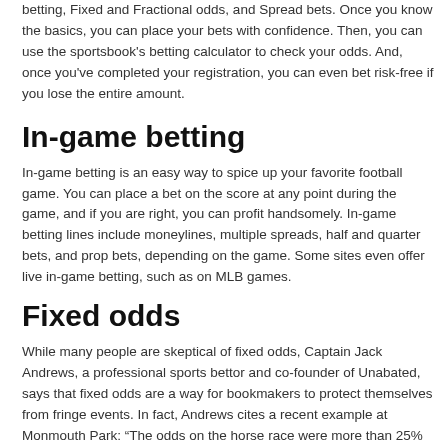betting, Fixed and Fractional odds, and Spread bets. Once you know the basics, you can place your bets with confidence. Then, you can use the sportsbook's betting calculator to check your odds. And, once you've completed your registration, you can even bet risk-free if you lose the entire amount.
In-game betting
In-game betting is an easy way to spice up your favorite football game. You can place a bet on the score at any point during the game, and if you are right, you can profit handsomely. In-game betting lines include moneylines, multiple spreads, half and quarter bets, and prop bets, depending on the game. Some sites even offer live in-game betting, such as on MLB games.
Fixed odds
While many people are skeptical of fixed odds, Captain Jack Andrews, a professional sports bettor and co-founder of Unabated, says that fixed odds are a way for bookmakers to protect themselves from fringe events. In fact, Andrews cites a recent example at Monmouth Park: “The odds on the horse race were more than 25% higher than in pari-mutuel betting. This is the result of a vigorish error.”
Fractional odds